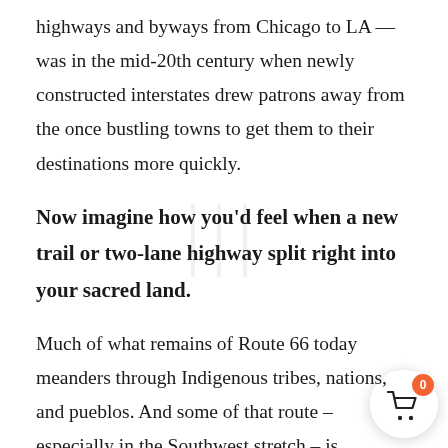highways and byways from Chicago to LA — was in the mid-20th century when newly constructed interstates drew patrons away from the once bustling towns to get them to their destinations more quickly.
Now imagine how you'd feel when a new trail or two-lane highway split right into your sacred land.
Much of what remains of Route 66 today meanders through Indigenous tribes, nations, and pueblos. And some of that route – especially in the Southwest stretch – is sprinkled with kitsch shops, motels, murals, ...